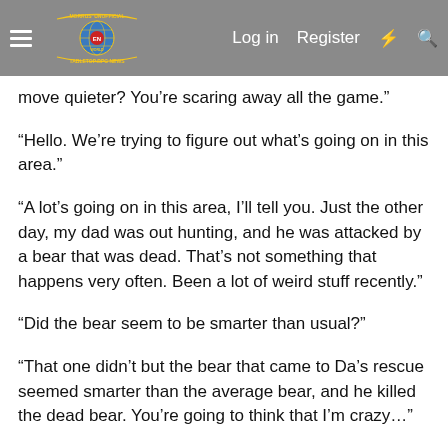Morrus' Unofficial Tabletop RPG News | Log in | Register
move quieter? You’re scaring away all the game.”
“Hello. We’re trying to figure out what’s going on in this area.”
“A lot’s going on in this area, I’ll tell you. Just the other day, my dad was out hunting, and he was attacked by a bear that was dead. That’s not something that happens very often. Been a lot of weird stuff recently.”
“Did the bear seem to be smarter than usual?”
“That one didn’t but the bear that came to Da’s rescue seemed smarter than the average bear, and he killed the dead bear. You’re going to think that I’m crazy…”
“We might, but we’ve seen similar things.”